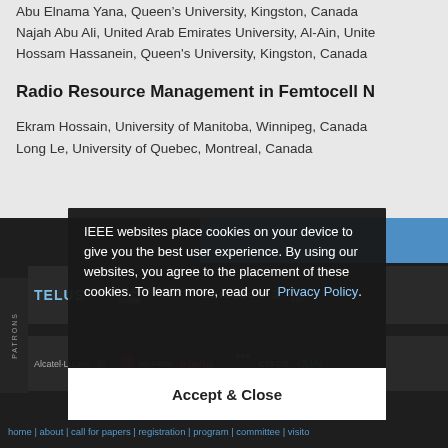Abu Elnama Yana, Queen's University, Kingston, Canada
Najah Abu Ali, United Arab Emirates University, Al-Ain, United
Hossam Hassanein, Queen's University, Kingston, Canada
Radio Resource Management in Femtocell N
Ekram Hossain, University of Manitoba, Winnipeg, Canada
Long Le, University of Quebec, Montreal, Canada
[Figure (screenshot): Cookie consent overlay on IEEE website with sponsor logos (TELUS, Albonquin, Ericsson, Carleton, Alcatel-Lucent, Huawei, etena, Cisco, Qualcomm) visible in background]
IEEE websites place cookies on your device to give you the best user experience. By using our websites, you agree to the placement of these cookies. To learn more, read our Privacy Policy.
Accept & Close
home | about | call for papers | registration | program | committee | visito